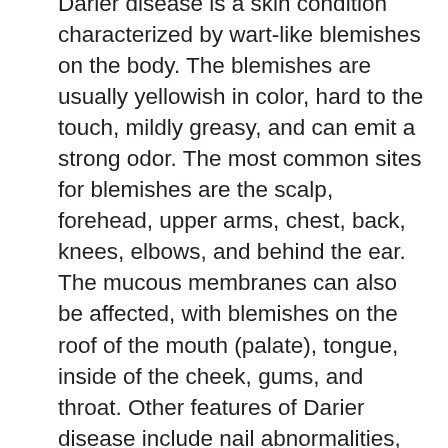Darier disease is a skin condition characterized by wart-like blemishes on the body. The blemishes are usually yellowish in color, hard to the touch, mildly greasy, and can emit a strong odor. The most common sites for blemishes are the scalp, forehead, upper arms, chest, back, knees, elbows, and behind the ear. The mucous membranes can also be affected, with blemishes on the roof of the mouth (palate), tongue, inside of the cheek, gums, and throat. Other features of Darier disease include nail abnormalities, such as red and white streaks in the nails with an irregular texture, and small pits in the palms of the hands and soles of the feet.
The wart-like blemishes characteristic of Darier disease usually appear in late childhood to early adulthood. The severity of the disease varies over time; affected people experience flare-ups alternating with periods when the absence of...